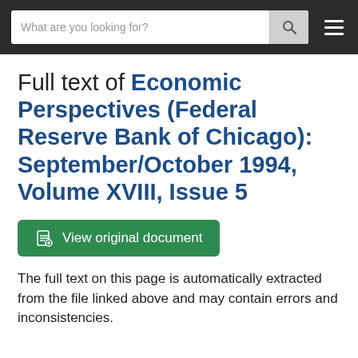What are you looking for?
Full text of Economic Perspectives (Federal Reserve Bank of Chicago): September/October 1994, Volume XVIII, Issue 5
View original document
The full text on this page is automatically extracted from the file linked above and may contain errors and inconsistencies.